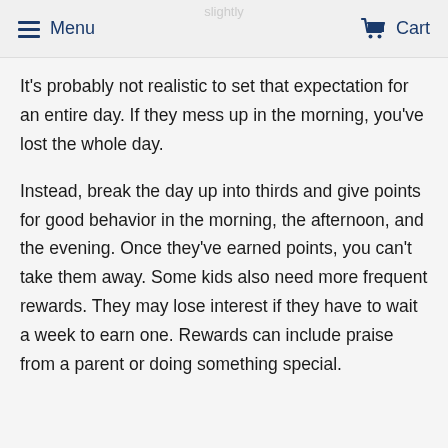Menu  Cart
It's probably not realistic to set that expectation for an entire day. If they mess up in the morning, you've lost the whole day.
Instead, break the day up into thirds and give points for good behavior in the morning, the afternoon, and the evening. Once they've earned points, you can't take them away. Some kids also need more frequent rewards. They may lose interest if they have to wait a week to earn one. Rewards can include praise from a parent or doing something special.